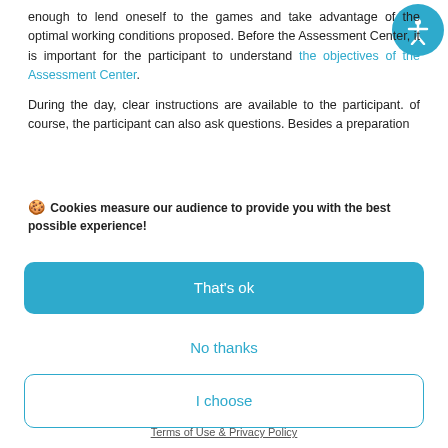enough to lend oneself to the games and take advantage of the optimal working conditions proposed. Before the Assessment Center, it is important for the participant to understand the objectives of the Assessment Center. During the day, clear instructions are available to the participant. of course, the participant can also ask questions. Besides a preparation
🍪 Cookies measure our audience to provide you with the best possible experience!
That's ok
No thanks
I choose
Terms of Use & Privacy Policy